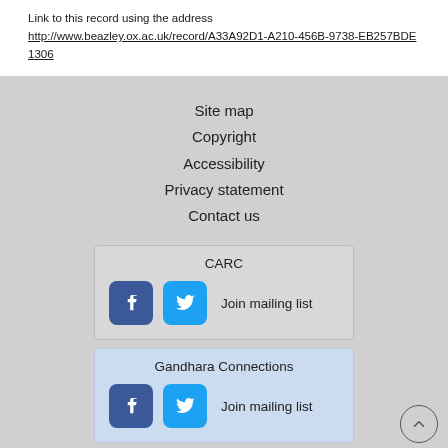Link to this record using the address
http://www.beazley.ox.ac.uk/record/A33A92D1-A210-456B-9738-EB257BDE1306
Site map
Copyright
Accessibility
Privacy statement
Contact us
CARC
Join mailing list
Gandhara Connections
Join mailing list